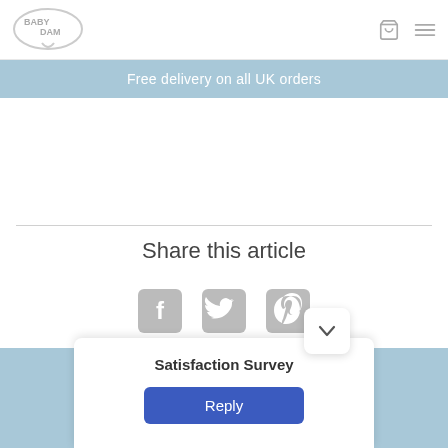Baby Dam — Free delivery on all UK orders
Share this article
[Figure (infographic): Social media share icons: Facebook, Twitter, Pinterest]
[Figure (infographic): Satisfaction Survey widget with Reply button and chevron toggle]